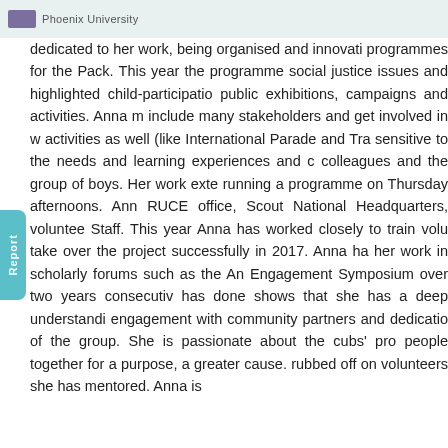Phoenix University
dedicated to her work, being organised and innovative programmes for the Pack. This year the programme social justice issues and highlighted child-participation public exhibitions, campaigns and activities. Anna m include many stakeholders and get involved in w activities as well (like International Parade and Tra sensitive to the needs and learning experiences and c colleagues and the group of boys. Her work exte running a programme on Thursday afternoons. Ann RUCE office, Scout National Headquarters, voluntee Staff. This year Anna has worked closely to train volu take over the project successfully in 2017. Anna ha her work in scholarly forums such as the An Engagement Symposium over two years consecutiv has done shows that she has a deep understandi engagement with community partners and dedicatio of the group. She is passionate about the cubs' pro people together for a purpose, a greater cause. rubbed off on volunteers she has mentored. Anna is